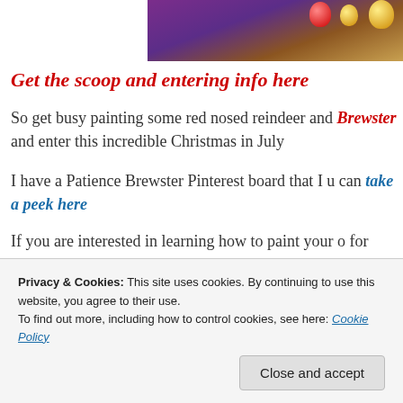[Figure (photo): Partial photo at top showing Christmas ornaments (red, gold) against a purple/maroon background on a wooden surface]
Get the scoop and entering info here
So get busy painting some red nosed reindeer and Brewster and enter this incredible Christmas in July
I have a Patience Brewster Pinterest board that I u can take a peek here
If you are interested in learning how to paint your o for stitching
[Figure (photo): Photo of needlework or craft items with green fabric and blue patterned material]
Privacy & Cookies: This site uses cookies. By continuing to use this website, you agree to their use.
To find out more, including how to control cookies, see here: Cookie Policy